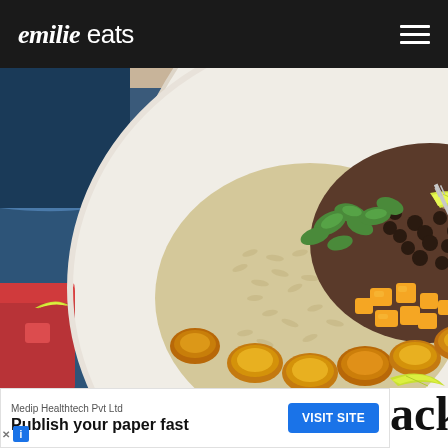emilie eats
[Figure (photo): Overhead view of a bowl containing rice with herbs, black beans, diced mango, seared plantains, garnished with cilantro and lime wedges. A red drink with lime is partially visible on the left. Blue linen cloth underneath.]
Medip Healthtech Pvt Ltd
Publish your paper fast
VISIT SITE
ack